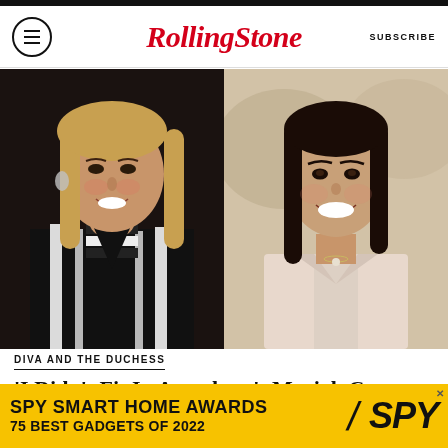Rolling Stone — SUBSCRIBE
[Figure (photo): Two side-by-side photos: left shows Mariah Carey in a black and white patterned outfit with long blonde hair; right shows Meghan Markle in a light pink blazer with long dark hair, smiling.]
DIVA AND THE DUCHESS
'I Didn't Fit In Anywhere': Mariah Carey Discusses Growing Up Biracial With Meghan Markle
[Figure (other): SPY SMART HOME AWARDS advertisement banner — yellow background with text: SPY SMART HOME AWARDS 75 BEST GADGETS OF 2022 and SPY logo]